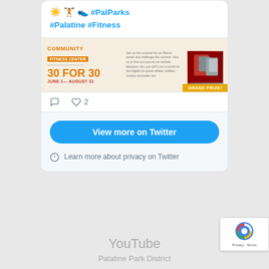☀️🏋️👟 #PalParks #Palatine #Fitness
[Figure (photo): Community Fitness Center 30 FOR 30 JUNE 1 - AUGUST 31 promotional image with Grand Prize banner and trophy photo]
♡  ♡ 2
View more on Twitter
ⓘ  Learn more about privacy on Twitter
YouTube
Palatine Park District